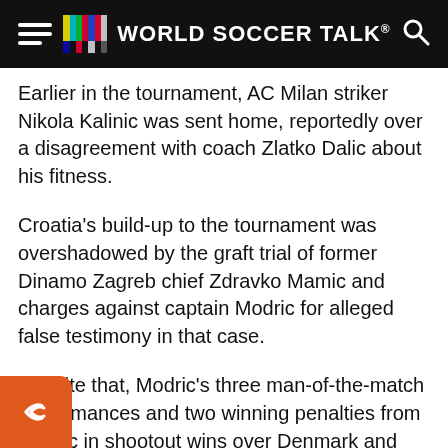WORLD SOCCER TALK
Earlier in the tournament, AC Milan striker Nikola Kalinic was sent home, reportedly over a disagreement with coach Zlatko Dalic about his fitness.
Croatia's build-up to the tournament was overshadowed by the graft trial of former Dinamo Zagreb chief Zdravko Mamic and charges against captain Modric for alleged false testimony in that case.
Despite that, Modric's three man-of-the-match performances and two winning penalties from Rakitic in shootout wins over Denmark and Russia have seen them match Croatia's best-ever World Cup performance 20 years ago in France.